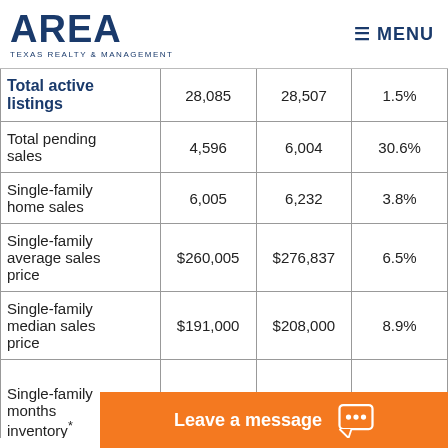AREA Texas Realty & Management | MENU
|  | Col1 | Col2 | Change |
| --- | --- | --- | --- |
| Total active listings | 28,085 | 28,507 | 1.5% |
| Total pending sales | 4,596 | 6,004 | 30.6% |
| Single-family home sales | 6,005 | 6,232 | 3.8% |
| Single-family average sales price | $260,005 | $276,837 | 6.5% |
| Single-family median sales price | $191,000 | $208,000 | 8.9% |
| Single-family months inventory* |  |  |  |